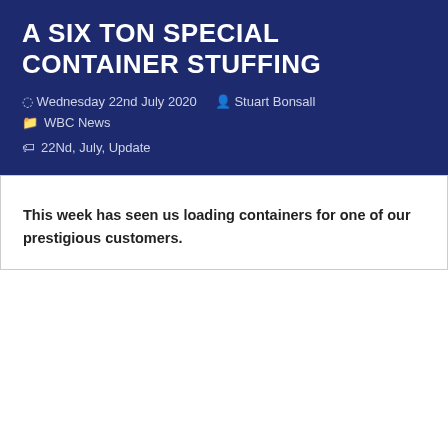A SIX TON SPECIAL CONTAINER STUFFING
Wednesday 22nd July 2020  Stuart Bonsall
WBC News
22Nd, July, Update
This week has seen us loading containers for one of our prestigious customers.